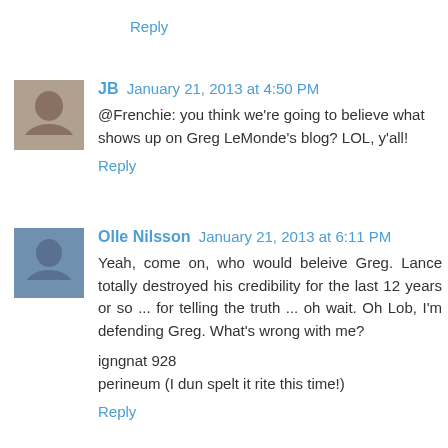Reply
JB  January 21, 2013 at 4:50 PM
@Frenchie: you think we're going to believe what shows up on Greg LeMonde's blog? LOL, y'all!
Reply
Olle Nilsson  January 21, 2013 at 6:11 PM
Yeah, come on, who would beleive Greg. Lance totally destroyed his credibility for the last 12 years or so ... for telling the truth ... oh wait. Oh Lob, I'm defending Greg. What's wrong with me?

igngnat 928

perineum (I dun spelt it rite this time!)
Reply